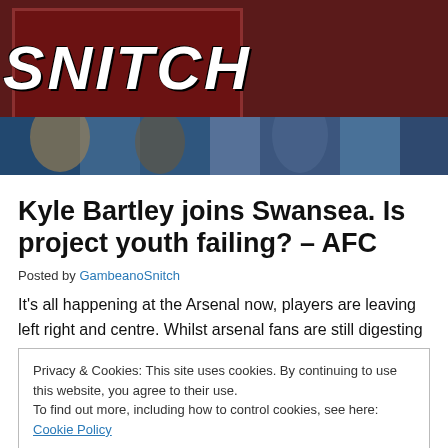[Figure (logo): SNITCH logo in white bold italic text on dark red/maroon background, with a sports banner/header image below showing players]
Kyle Bartley joins Swansea. Is project youth failing? – AFC
Posted by GambeanoSnitch
It's all happening at the Arsenal now, players are leaving left right and centre. Whilst arsenal fans are still digesting
Privacy & Cookies: This site uses cookies. By continuing to use this website, you agree to their use.
To find out more, including how to control cookies, see here: Cookie Policy
that all the time, and investment warranted